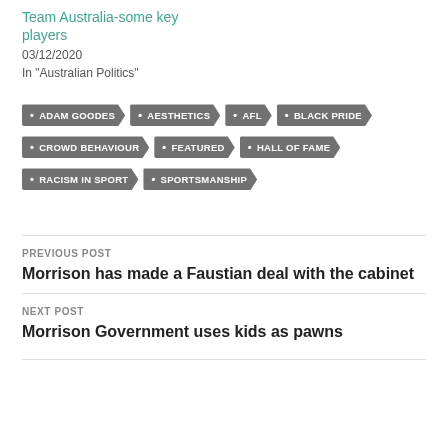Team Australia-some key players
03/12/2020
In "Australian Politics"
ADAM GOODES
AESTHETICS
AFL
BLACK PRIDE
CROWD BEHAVIOUR
FEATURED
HALL OF FAME
RACISM IN SPORT
SPORTSMANSHIP
PREVIOUS POST
Morrison has made a Faustian deal with the cabinet
NEXT POST
Morrison Government uses kids as pawns